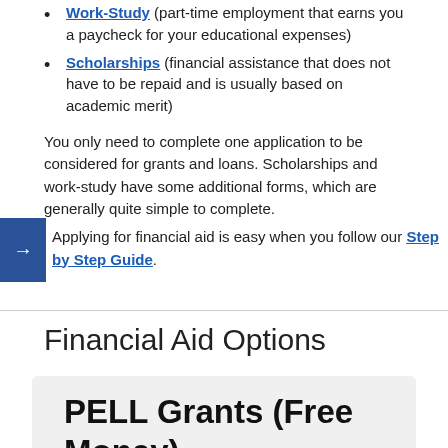Work-Study (part-time employment that earns you a paycheck for your educational expenses)
Scholarships (financial assistance that does not have to be repaid and is usually based on academic merit)
You only need to complete one application to be considered for grants and loans. Scholarships and work-study have some additional forms, which are generally quite simple to complete.
Applying for financial aid is easy when you follow our Step by Step Guide.
Financial Aid Options
PELL Grants (Free Money)